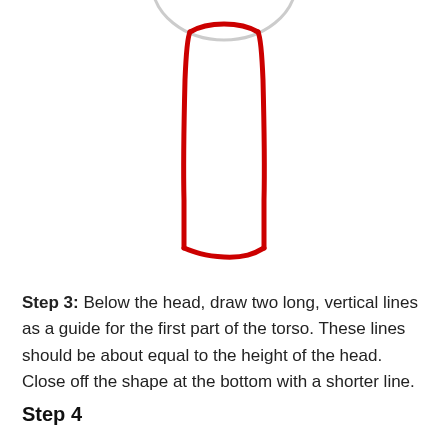[Figure (illustration): Drawing tutorial step showing a sketch of a human torso shape. A gray oval (head outline) is partially visible at the top center. Below it, a red hand-drawn rectangular shape with slightly curved sides forms the upper torso guide, with two vertical lines going down and a shorter horizontal line closing the bottom. The red lines indicate the new step being added.]
Step 3: Below the head, draw two long, vertical lines as a guide for the first part of the torso. These lines should be about equal to the height of the head. Close off the shape at the bottom with a shorter line.
Step 4